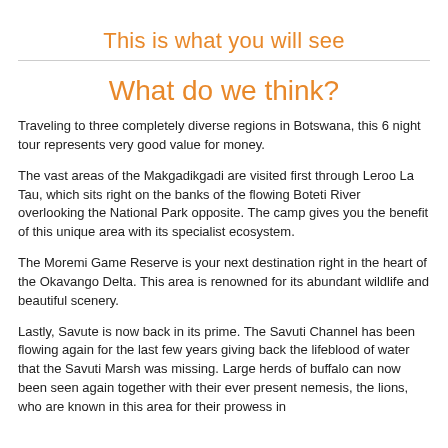This is what you will see
What do we think?
Traveling to three completely diverse regions in Botswana, this 6 night tour represents very good value for money.
The vast areas of the Makgadikgadi are visited first through Leroo La Tau, which sits right on the banks of the flowing Boteti River overlooking the National Park opposite. The camp gives you the benefit of this unique area with its specialist ecosystem.
The Moremi Game Reserve is your next destination right in the heart of the Okavango Delta. This area is renowned for its abundant wildlife and beautiful scenery.
Lastly, Savute is now back in its prime. The Savuti Channel has been flowing again for the last few years giving back the lifeblood of water that the Savuti Marsh was missing. Large herds of buffalo can now been seen again together with their ever present nemesis, the lions, who are known in this area for their prowess in